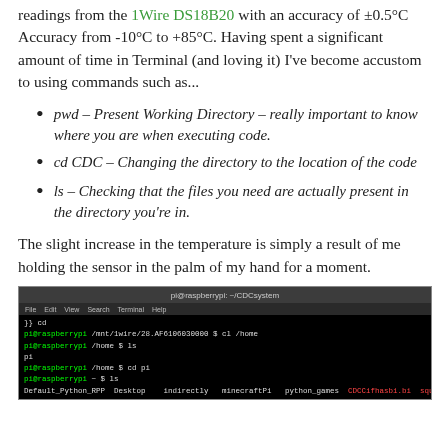readings from the 1Wire DS18B20 with an accuracy of ±0.5°C Accuracy from -10°C to +85°C. Having spent a significant amount of time in Terminal (and loving it) I've become accustom to using commands such as...
pwd – Present Working Directory – really important to know where you are when executing code.
cd CDC – Changing the directory to the location of the code
ls – Checking that the files you need are actually present in the directory you're in.
The slight increase in the temperature is simply a result of me holding the sensor in the palm of my hand for a moment.
[Figure (screenshot): Terminal window showing Raspberry Pi command line with directory navigation commands: cd /home, ls, cd pi, ls showing files including Desktop, Documents, python_games, etc., and cd CDC command]